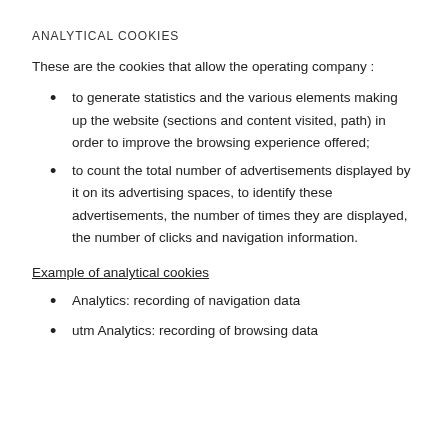ANALYTICAL COOKIES
These are the cookies that allow the operating company :
to generate statistics and the various elements making up the website (sections and content visited, path) in order to improve the browsing experience offered;
to count the total number of advertisements displayed by it on its advertising spaces, to identify these advertisements, the number of times they are displayed, the number of clicks and navigation information.
Example of analytical cookies
Analytics: recording of navigation data
utm Analytics: recording of browsing data